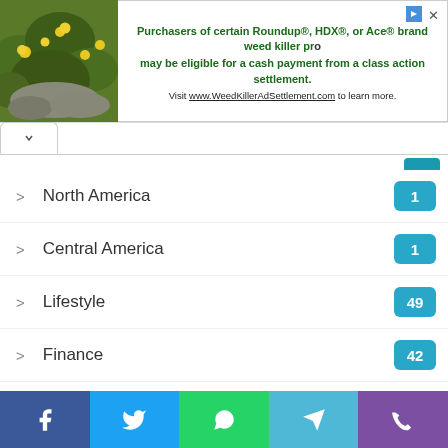[Figure (screenshot): Advertisement banner for Roundup/HDX/Ace weed killer class action settlement at WeedKillerAdSettlement.com, with a photo of yellow flowers on stone background]
> North America  1
> Central America  1
> Lifestyle  49
> Finance  42
> Travel  38
> People  28
> Environment  27
> Education  25
> Culture  23
> Legal
[Figure (screenshot): Social share bar with Facebook, Twitter, WhatsApp, Telegram, and Viber buttons]